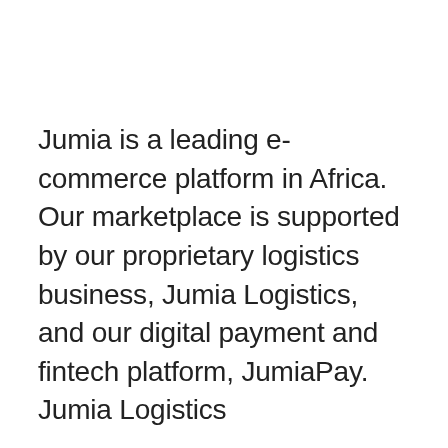Jumia is a leading e-commerce platform in Africa. Our marketplace is supported by our proprietary logistics business, Jumia Logistics, and our digital payment and fintech platform, JumiaPay. Jumia Logistics